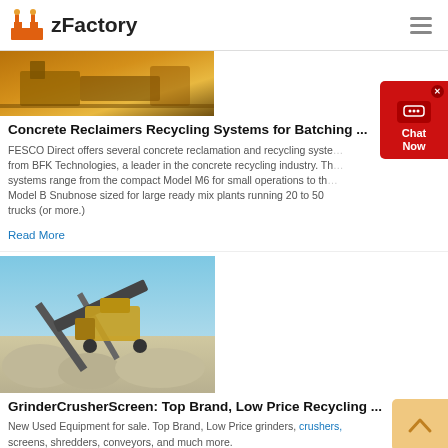zFactory
[Figure (photo): Industrial concrete recycling equipment, yellow machinery]
Concrete Reclaimers Recycling Systems for Batching ...
FESCO Direct offers several concrete reclamation and recycling systems from BFK Technologies, a leader in the concrete recycling industry. The systems range from the compact Model M6 for small operations to the Model B Snubnose sized for large ready mix plants running 20 to 50 trucks (or more.)
Read More
[Figure (photo): Grinder crusher screen heavy industrial equipment with conveyor belts and stone piles under blue sky]
GrinderCrusherScreen: Top Brand, Low Price Recycling ...
New Used Equipment for sale. Top Brand, Low Price grinders, crushers, screens, shredders, conveyors, and much more.